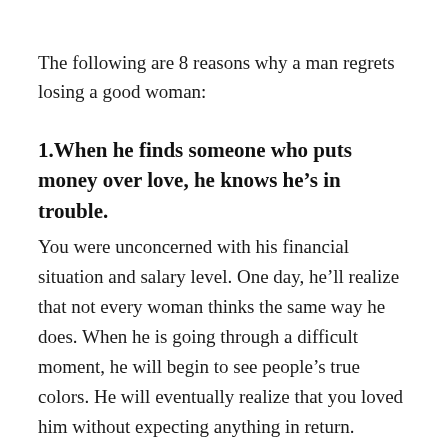The following are 8 reasons why a man regrets losing a good woman:
1.When he finds someone who puts money over love, he knows he’s in trouble.
You were unconcerned with his financial situation and salary level. One day, he’ll realize that not every woman thinks the same way he does. When he is going through a difficult moment, he will begin to see people’s true colors. He will eventually realize that you loved him without expecting anything in return.